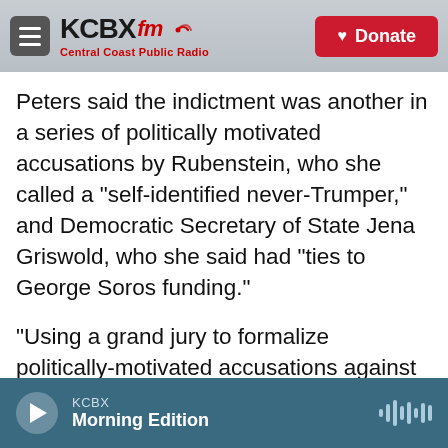KCBX FM — Central Coast Public Radio | Donate
Peters said the indictment was another in a series of politically motivated accusations by Rubenstein, who she called a "self-identified never-Trumper," and Democratic Secretary of State Jena Griswold, who she said had "ties to George Soros funding."
"Using a grand jury to formalize politically-motivated accusations against candidates is tactic long employed by the Democrat Party," Peters said in a statement. "Using legal muscle to indict political opponents during an election isn't new strategy, but it's easier to execute when you have a district attorney who despises President Trump and
KCBX — Morning Edition